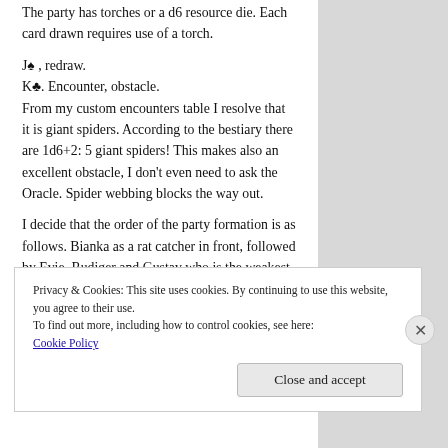The party has torches or a d6 resource die. Each card drawn requires use of a torch.
J♠, redraw.
K♣. Encounter, obstacle.
From my custom encounters table I resolve that it is giant spiders. According to the bestiary there are 1d6+2: 5 giant spiders! This makes also an excellent obstacle, I don't even need to ask the Oracle. Spider webbing blocks the way out.
I decide that the order of the party formation is as follows. Bianka as a rat catcher in front, followed by Evie, Rudiger and Gustav who is the weakest in combat, in the rear.
Bianka: Notice (d8): 4: Success
Privacy & Cookies: This site uses cookies. By continuing to use this website, you agree to their use.
To find out more, including how to control cookies, see here:
Cookie Policy
Close and accept